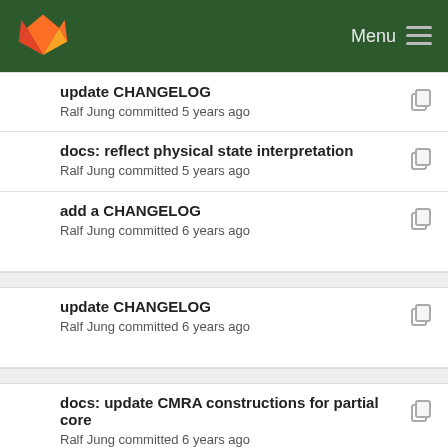Menu
update CHANGELOG
Ralf Jung committed 5 years ago
docs: reflect physical state interpretation
Ralf Jung committed 5 years ago
add a CHANGELOG
Ralf Jung committed 6 years ago
update CHANGELOG
Ralf Jung committed 6 years ago
docs: update CMRA constructions for partial core
Ralf Jung committed 6 years ago
CHANGELOG: Update to account for newly introd...
Ralf Jung committed 6 years ago